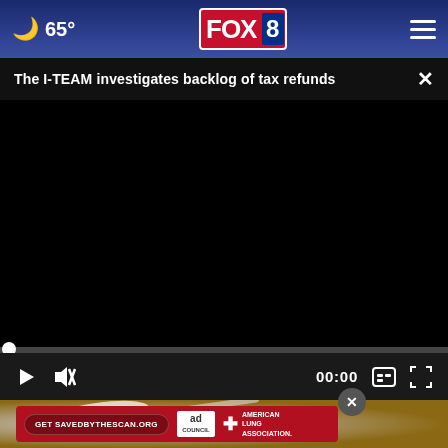65° FOX 8
The I-TEAM investigates backlog of tax refunds
[Figure (screenshot): Black video player area with playback controls, progress bar showing 00:00, mute button, captions button, and fullscreen button.]
[Figure (photo): Partial photo showing white powder/sugar on a spoon with a blurred brown background, partially visible below the video player.]
[Figure (infographic): Red advertisement banner: 'Get SAVEDBYTHESCAN.ORG' button, Ad Council logo, American Lung Association logo.]